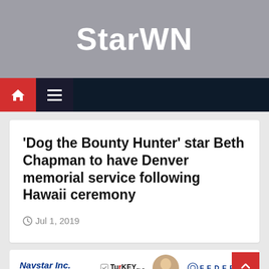StarWN
'Dog the Bounty Hunter' star Beth Chapman to have Denver memorial service following Hawaii ceremony
Jul 1, 2019
[Figure (screenshot): Bottom ad bar showing logos: Navstar Inc., TU..KEY plc, FEDERAL, and a photo thumbnail, with a red scroll-to-top button]